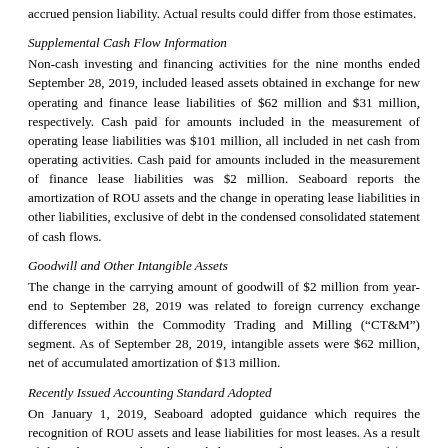accrued pension liability. Actual results could differ from those estimates.
Supplemental Cash Flow Information
Non-cash investing and financing activities for the nine months ended September 28, 2019, included leased assets obtained in exchange for new operating and finance lease liabilities of $62 million and $31 million, respectively. Cash paid for amounts included in the measurement of operating lease liabilities was $101 million, all included in net cash from operating activities. Cash paid for amounts included in the measurement of finance lease liabilities was $2 million. Seaboard reports the amortization of ROU assets and the change in operating lease liabilities in other liabilities, exclusive of debt in the condensed consolidated statement of cash flows.
Goodwill and Other Intangible Assets
The change in the carrying amount of goodwill of $2 million from year-end to September 28, 2019 was related to foreign currency exchange differences within the Commodity Trading and Milling (“CT&M”) segment. As of September 28, 2019, intangible assets were $62 million, net of accumulated amortization of $13 million.
Recently Issued Accounting Standard Adopted
On January 1, 2019, Seaboard adopted guidance which requires the recognition of ROU assets and lease liabilities for most leases. As a result of this adoption, Seaboard recorded operating lease ROU assets of $460 million, adjusted for the deferred rent liability balance at year-end, and